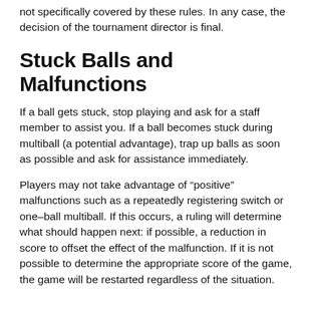not specifically covered by these rules. In any case, the decision of the tournament director is final.
Stuck Balls and Malfunctions
If a ball gets stuck, stop playing and ask for a staff member to assist you. If a ball becomes stuck during multiball (a potential advantage), trap up balls as soon as possible and ask for assistance immediately.
Players may not take advantage of “positive” malfunctions such as a repeatedly registering switch or one-ball multiball. If this occurs, a ruling will determine what should happen next: if possible, a reduction in score to offset the effect of the malfunction. If it is not possible to determine the appropriate score of the game, the game will be restarted regardless of the situation.